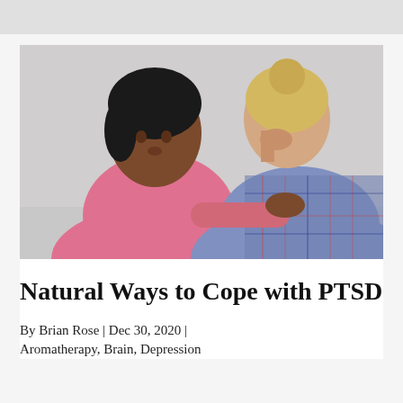[Figure (photo): A Black woman in a pink shirt placing a comforting hand on the shoulder of a distressed blonde woman who has her hand raised to her face, in a counseling or support setting.]
Natural Ways to Cope with PTSD
By Brian Rose | Dec 30, 2020 | Aromatherapy, Brain, Depression